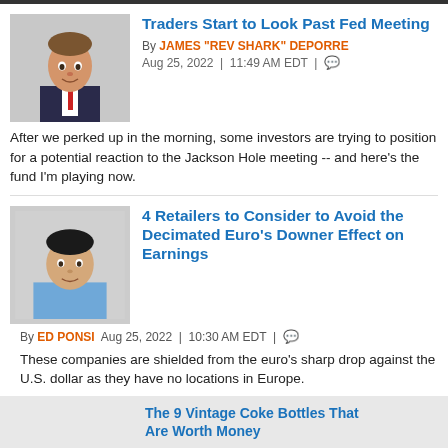[Figure (photo): Headshot of James 'Rev Shark' DePorre, man in suit with tie, smiling]
Traders Start to Look Past Fed Meeting
By JAMES "REV SHARK" DEPORRE
Aug 25, 2022 | 11:49 AM EDT
After we perked up in the morning, some investors are trying to position for a potential reaction to the Jackson Hole meeting -- and here's the fund I'm playing now.
[Figure (photo): Headshot of Ed Ponsi, man in blue shirt]
4 Retailers to Consider to Avoid the Decimated Euro's Downer Effect on Earnings
By ED PONSI Aug 25, 2022 | 10:30 AM EDT
These companies are shielded from the euro's sharp drop against the U.S. dollar as they have no locations in Europe.
[Figure (photo): Partial headshot of man, partially covered by ad banner]
Nvidia's Results Were Ugly: Here's What
The 9 Vintage Coke Bottles That Are Worth Money